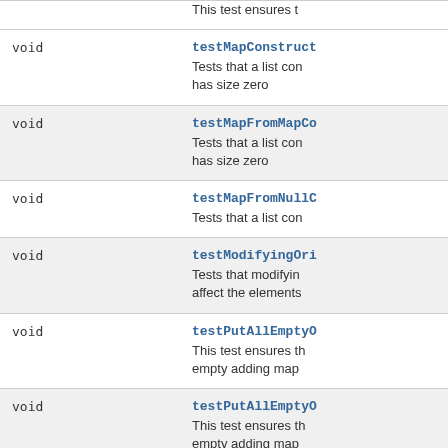| Type | Name and Description |
| --- | --- |
| void | testMapConstruct…
Tests that a list con… has size zero |
| void | testMapFromMapCo…
Tests that a list con… has size zero |
| void | testMapFromNullC…
Tests that a list con… |
| void | testModifyingOri…
Tests that modifyin… affect the elements… |
| void | testPutAllEmptyO…
This test ensures th… empty adding map… |
| void | testPutAllEmptyO…
This test ensures th… empty adding map… |